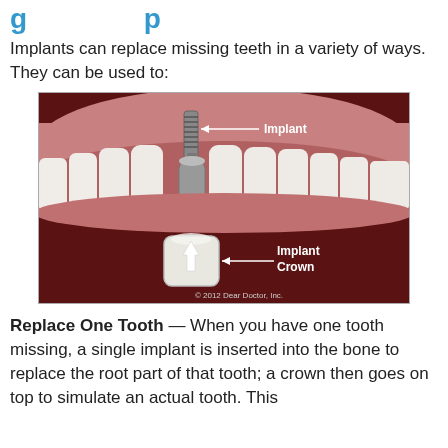g p
Implants can replace missing teeth in a variety of ways. They can be used to:
[Figure (illustration): Medical illustration of a dental implant showing a screw-type implant inserted into the gum with labeled 'Implant' arrow pointing to the screw at top, and a separate 'Implant Crown' with an upward arrow below, set against a dark maroon background showing teeth and gum tissue. Copyright 2012 Dear Doctor, Inc.]
Replace One Tooth — When you have one tooth missing, a single implant is inserted into the bone to replace the root part of that tooth; a crown then goes on top to simulate an actual tooth. This